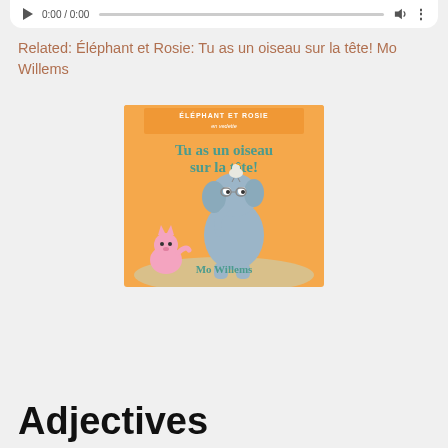[Figure (screenshot): Audio player control bar showing play button, 0:00/0:00 timestamp, progress bar, volume icon, and more options icon]
Related: Éléphant et Rosie: Tu as un oiseau sur la tête! Mo Willems
[Figure (photo): Book cover of 'Tu as un oiseau sur la tête!' by Mo Willems. Orange background with cartoon elephant and pink pig/cat characters. Header reads 'ÉLÉPHANT ET ROSIE en vedette'. Author name 'Mo Willems' at bottom.]
Adjectives